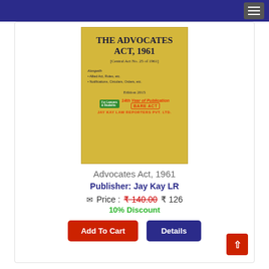[Figure (photo): Book cover of The Advocates Act, 1961 - yellow/gold cover with title, subtitle [Central Act No. 25 of 1961], Bare Act label, Edition 2015, Jay Kay Law Reporters Pvt Ltd logo]
Advocates Act, 1961
Publisher: Jay Kay LR
Price : ₹140.00  ₹ 126
10% Discount